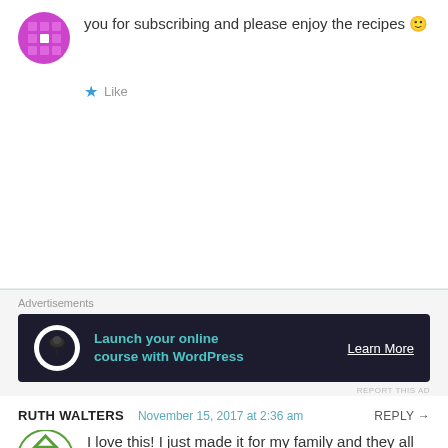you for subscribing and please enjoy the recipes 🙂
Like
Advertisements
[Figure (infographic): Dark banner ad: Launch your online course with WordPress, Learn More button, circular logo icon]
REPORT THIS AD
RUTH WALTERS  November 15, 2017 at 2:36 am  REPLY →
[Figure (logo): Green geometric diamond-square logo for Ruth Walters avatar]
I love this! I just made it for my family and they all loved it too! Thank you!
Advertisements